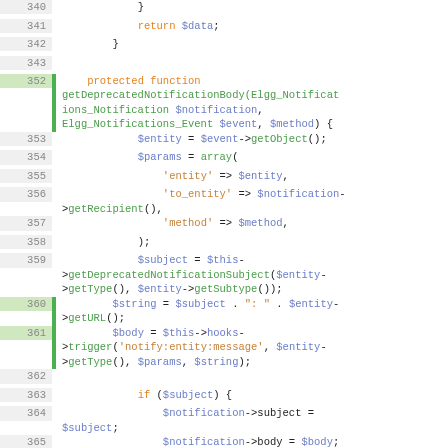[Figure (screenshot): Source code screenshot showing PHP code with syntax highlighting. Lines 340-370 and 379 are visible. The code shows a protected function getDeprecatedNotificationBody with variables, method calls, and logic for notification subject and body.]